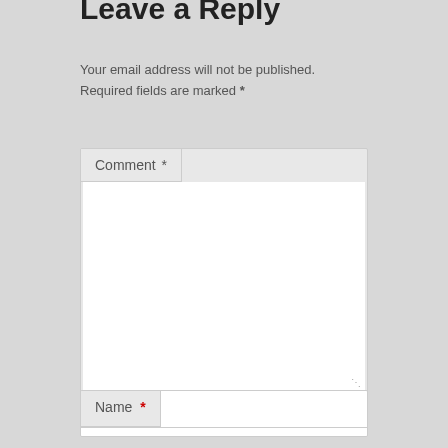Leave a Reply
Your email address will not be published. Required fields are marked *
[Figure (screenshot): Comment text area field with label tab showing 'Comment *' and a large white textarea below with resize handle]
[Figure (screenshot): Name input field with label tab showing 'Name *' (asterisk in red) and a white input area]